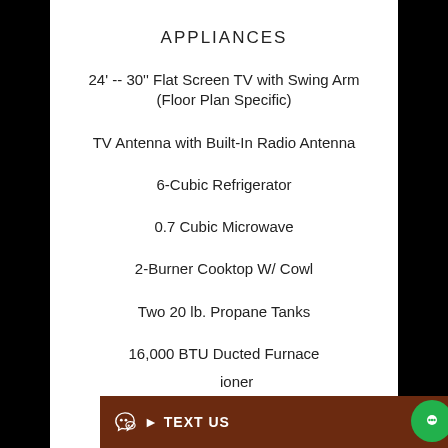APPLIANCES
24' -- 30'' Flat Screen TV with Swing Arm (Floor Plan Specific)
TV Antenna with Built-In Radio Antenna
6-Cubic Refrigerator
0.7 Cubic Microwave
2-Burner Cooktop W/ Cowl
Two 20 lb. Propane Tanks
16,000 BTU Ducted Furnace
...ioner
TEXT US